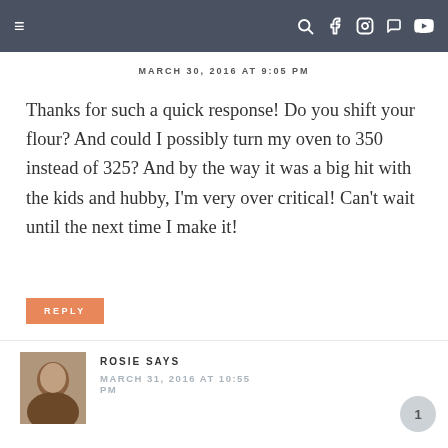MARCH 30, 2016 AT 9:05 PM
Thanks for such a quick response! Do you shift your flour? And could I possibly turn my oven to 350 instead of 325? And by the way it was a big hit with the kids and hubby, I'm very over critical! Can't wait until the next time I make it!
REPLY
ROSIE SAYS
MARCH 31, 2016 AT 10:55 PM